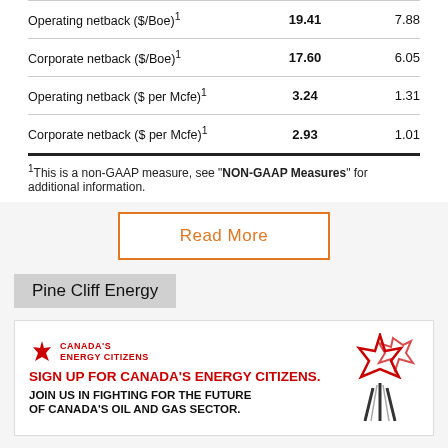|  |  |  |
| --- | --- | --- |
| Operating netback ($/Boe)¹ | 19.41 | 7.88 |
| Corporate netback ($/Boe)¹ | 17.60 | 6.05 |
| Operating netback ($ per Mcfe)¹ | 3.24 | 1.31 |
| Corporate netback ($ per Mcfe)¹ | 2.93 | 1.01 |
¹This is a non-GAAP measure, see "NON-GAAP Measures" for additional information.
Read More
Pine Cliff Energy
[Figure (infographic): Canada's Energy Citizens advertisement: red maple leaf logo, headline 'SIGN UP FOR CANADA'S ENERGY CITIZENS.' in red, subtext 'JOIN US IN FIGHTING FOR THE FUTURE OF CANADA'S OIL AND GAS SECTOR.' in black, with pipeline/oil field imagery on the right.]
FOLLOW THE BOE REPORT